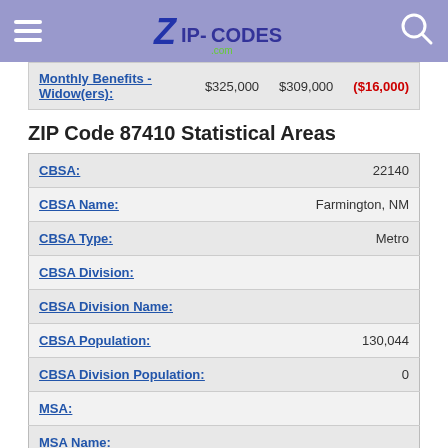ZIP-CODES.com
| Label | Value1 | Value2 | Change |
| --- | --- | --- | --- |
| Monthly Benefits - Widow(ers): | $325,000 | $309,000 | ($16,000) |
ZIP Code 87410 Statistical Areas
| Field | Value |
| --- | --- |
| CBSA: | 22140 |
| CBSA Name: | Farmington, NM |
| CBSA Type: | Metro |
| CBSA Division: |  |
| CBSA Division Name: |  |
| CBSA Population: | 130,044 |
| CBSA Division Population: | 0 |
| MSA: |  |
| MSA Name: |  |